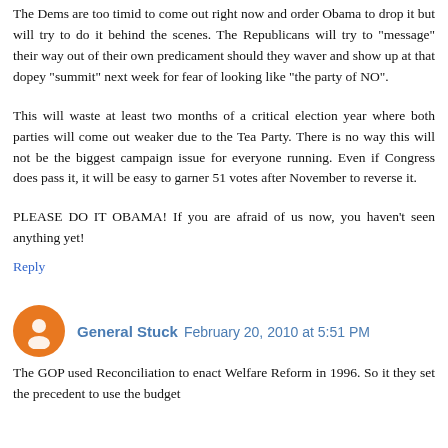The Dems are too timid to come out right now and order Obama to drop it but will try to do it behind the scenes. The Republicans will try to "message" their way out of their own predicament should they waver and show up at that dopey "summit" next week for fear of looking like "the party of NO".
This will waste at least two months of a critical election year where both parties will come out weaker due to the Tea Party. There is no way this will not be the biggest campaign issue for everyone running. Even if Congress does pass it, it will be easy to garner 51 votes after November to reverse it.
PLEASE DO IT OBAMA! If you are afraid of us now, you haven't seen anything yet!
Reply
General Stuck  February 20, 2010 at 5:51 PM
The GOP used Reconciliation to enact Welfare Reform in 1996. So it they set the precedent to use the budget